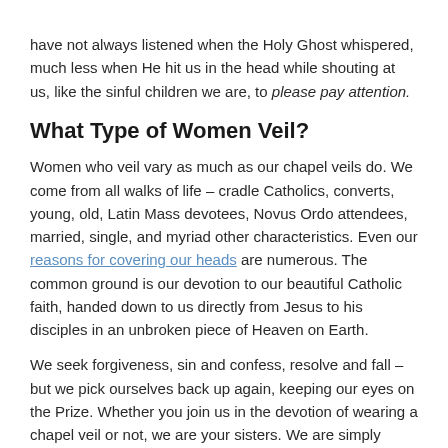have not always listened when the Holy Ghost whispered, much less when He hit us in the head while shouting at us, like the sinful children we are, to please pay attention.
What Type of Women Veil?
Women who veil vary as much as our chapel veils do. We come from all walks of life – cradle Catholics, converts, young, old, Latin Mass devotees, Novus Ordo attendees, married, single, and myriad other characteristics. Even our reasons for covering our heads are numerous. The common ground is our devotion to our beautiful Catholic faith, handed down to us directly from Jesus to his disciples in an unbroken piece of Heaven on Earth.
We seek forgiveness, sin and confess, resolve and fall – but we pick ourselves back up again, keeping our eyes on the Prize. Whether you join us in the devotion of wearing a chapel veil or not, we are your sisters. We are simply seeking to restore one ancient aspect of the beauty of our common faith.